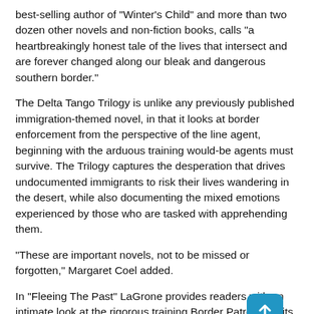best-selling author of "Winter's Child" and more than two dozen other novels and non-fiction books, calls "a heartbreakingly honest tale of the lives that intersect and are forever changed along our bleak and dangerous southern border."
The Delta Tango Trilogy is unlike any previously published immigration-themed novel, in that it looks at border enforcement from the perspective of the line agent, beginning with the arduous training would-be agents must survive. The Trilogy captures the desperation that drives undocumented immigrants to risk their lives wandering in the desert, while also documenting the mixed emotions experienced by those who are tasked with apprehending them.
"These are important novels, not to be missed or forgotten," Margaret Coel added.
In "Fleeing The Past" LaGrone provides readers with an intimate look at the rigorous training Border Patrol recruits must complete just to advance to field trainee status, and introduces Felina Camarena Rivera, one of